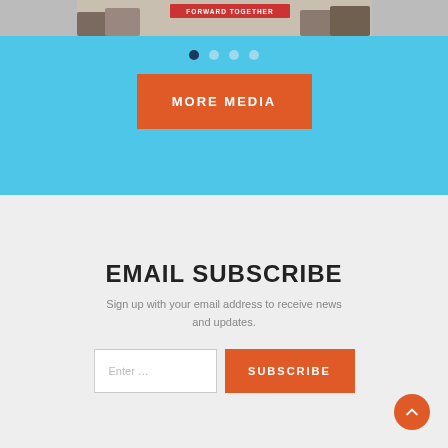[Figure (photo): Photo strip showing people with a red 'FORWARD TOGETHER' banner at the top of a carousel]
[Figure (infographic): Carousel navigation dots: first dot is dark/active, three dots are light/inactive]
MORE MEDIA
EMAIL SUBSCRIBE
Sign up with your email address to receive news and updates.
Enter ...
SUBSCRIBE